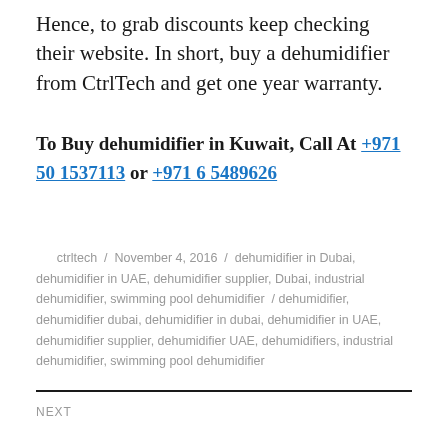Hence, to grab discounts keep checking their website. In short, buy a dehumidifier from CtrlTech and get one year warranty.
To Buy dehumidifier in Kuwait, Call At +971 50 1537113 or +971 6 5489626
ctrltech / November 4, 2016 / dehumidifier in Dubai, dehumidifier in UAE, dehumidifier supplier, Dubai, industrial dehumidifier, swimming pool dehumidifier / dehumidifier, dehumidifier dubai, dehumidifier in dubai, dehumidifier in UAE, dehumidifier supplier, dehumidifier UAE, dehumidifiers, industrial dehumidifier, swimming pool dehumidifier
NEXT